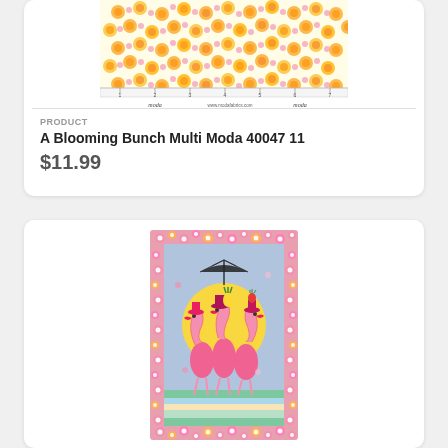[Figure (photo): Fabric swatch showing yellow and orange floral pattern on cream background with Moda ruler at bottom edge]
PRODUCT
A Blooming Bunch Multi Moda 40047 11
$11.99
[Figure (photo): Flamingo panel fabric with three pink flamingos under beach umbrella, floral border, blue sky background with yellow sun]